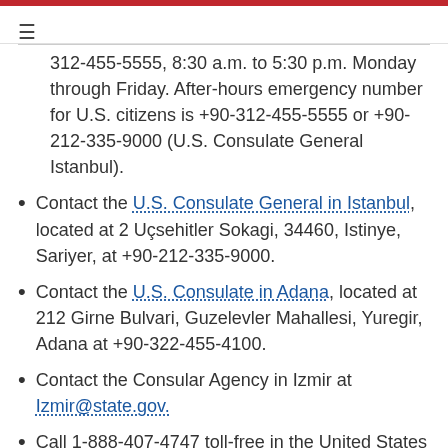≡
312-455-5555, 8:30 a.m. to 5:30 p.m. Monday through Friday. After-hours emergency number for U.S. citizens is +90-312-455-5555 or +90-212-335-9000 (U.S. Consulate General Istanbul).
Contact the U.S. Consulate General in Istanbul, located at 2 Uçsehitler Sokagi, 34460, Istinye, Sariyer, at +90-212-335-9000.
Contact the U.S. Consulate in Adana, located at 212 Girne Bulvari, Guzelevler Mahallesi, Yuregir, Adana at +90-322-455-4100.
Contact the Consular Agency in Izmir at Izmir@state.gov.
Call 1-888-407-4747 toll-free in the United States and Canada or 1-202-501-4444 from other countries from 8:00 a.m. to 8:00 p.m. Eastern Standard Time,